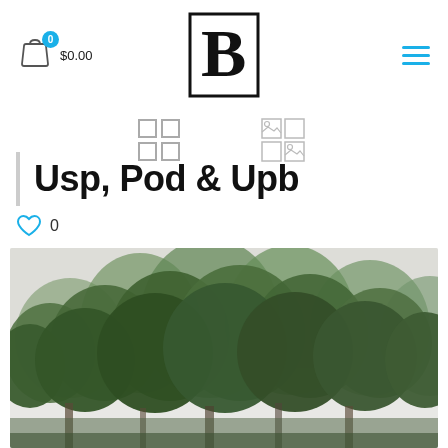$0.00
[Figure (logo): Bold stylized letter B inside a square border — website logo]
[Figure (infographic): Four-square grid view icon (2x2 squares) and a thumbnail-grid view icon, UI controls]
Usp, Pod & Upb
[Figure (infographic): Heart/like icon with count 0]
[Figure (photo): Photograph of tall green eucalyptus trees against a light grey sky, Australian bush landscape]